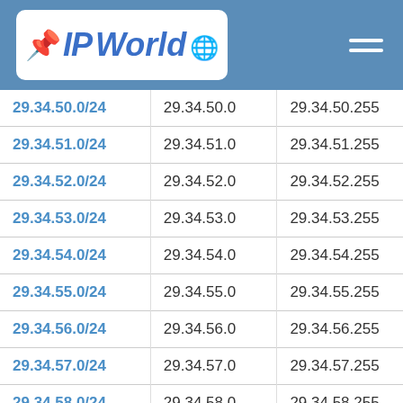IP World
| Network | Start | End |
| --- | --- | --- |
| 29.34.50.0/24 | 29.34.50.0 | 29.34.50.255 |
| 29.34.51.0/24 | 29.34.51.0 | 29.34.51.255 |
| 29.34.52.0/24 | 29.34.52.0 | 29.34.52.255 |
| 29.34.53.0/24 | 29.34.53.0 | 29.34.53.255 |
| 29.34.54.0/24 | 29.34.54.0 | 29.34.54.255 |
| 29.34.55.0/24 | 29.34.55.0 | 29.34.55.255 |
| 29.34.56.0/24 | 29.34.56.0 | 29.34.56.255 |
| 29.34.57.0/24 | 29.34.57.0 | 29.34.57.255 |
| 29.34.58.0/24 | 29.34.58.0 | 29.34.58.255 |
| 29.34.59.0/24 | 29.34.59.0 | 29.34.59.255 |